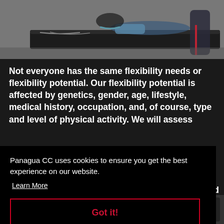[Figure (photo): A patient lying on a therapy/massage table with a practitioner (physical therapist or chiropractor) standing nearby in a clinical setting. Black therapy table visible in the background.]
Not everyone has the same flexibility needs or flexibility potential. Our flexibility potential is affected by genetics, gender, age, lifestyle, medical history, occupation, and, of course, type and level of physical activity. We will assess
Panagua CC uses cookies to ensure you get the best experience on our website.
Learn More
Got it!
und
gth
[Figure (photo): Partial view of another clinical/therapy scene at the bottom of the page, showing what appears to be teal-colored equipment or clothing on the left and dark equipment on the right.]